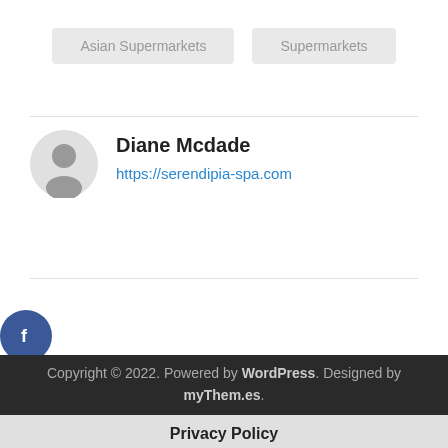Asian Supermarkets
Supermarkets
Diane Mcdade
https://serendipia-spa.com
[Figure (illustration): Social media icons: Facebook (blue), Google+ (red), Twitter (blue), Plus (dark grey) arranged vertically on left side]
Copyright © 2022. Powered by WordPress. Designed by myThem.es.
[Figure (illustration): RSS feed icon in orange square]
Privacy Policy